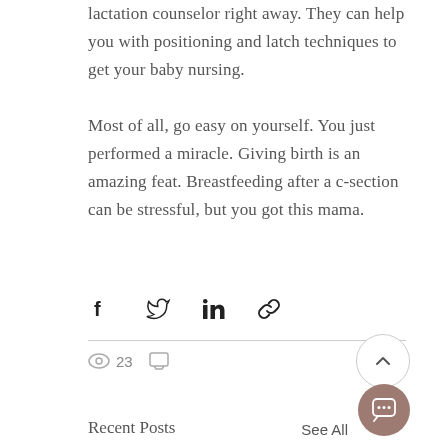lactation counselor right away. They can help you with positioning and latch techniques to get your baby nursing.
Most of all, go easy on yourself. You just performed a miracle. Giving birth is an amazing feat. Breastfeeding after a c-section can be stressful, but you got this mama.
[Figure (infographic): Social sharing icons: Facebook, Twitter, LinkedIn, and link/copy icon]
23 views, 0 comments
Recent Posts
See All